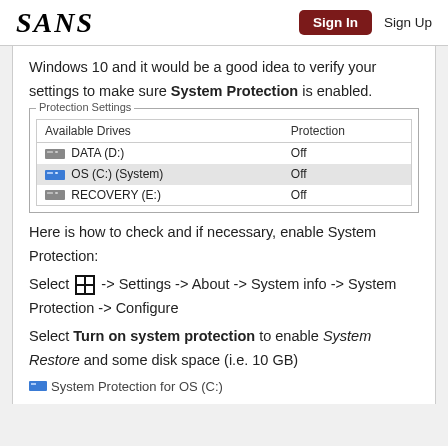SANS | Sign In | Sign Up
Windows 10 and it would be a good idea to verify your settings to make sure System Protection is enabled.
[Figure (screenshot): Protection Settings dialog showing Available Drives table with DATA (D:) Off, OS (C:) (System) Off (highlighted), RECOVERY (E:) Off]
Here is how to check and if necessary, enable System Protection: Select [Windows icon] -> Settings -> About -> System info -> System Protection -> Configure Select Turn on system protection to enable System Restore and some disk space (i.e. 10 GB)
System Protection for OS (C:)